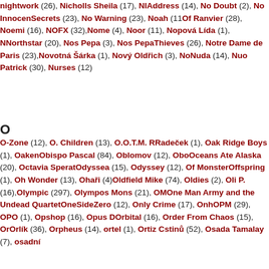nightwork (26), Nicholls Sheila (17), NI... Address (14), No Doubt (2), No Innocen... Secrets (23), No Warning (23), Noah (11... Of Ranvier (28), Noemi (16), NOFX (32),... Nome (4), Noor (11), Nopová Lída (1), N... Northstar (20), Nos Pepa (3), Nos Pepa... Thieves (26), Notre Dame de Paris (23),... Novotná Šárka (1), Nový Oldřich (3), No... Nuda (14), Nuo Patrick (30), Nurses (12...
O
O-Zone (12), O. Children (13), O.O.T.M. ... Radeček (1), Oak Ridge Boys (1), Oaken... Obispo Pascal (84), Oblomov (12), Obo... Oceans Ate Alaska (20), Octavia Sperat... Odyssea (15), Odyssey (12), Of Monster... Offspring (1), Oh Wonder (13), Ohaři (4)... Oldfield Mike (74), Oldies (2), Oli P. (16),... Olympic (297), Olympos Mons (21), OM... One Man Army and the Undead Quartet... OneSideZero (12), Only Crime (17), Onh... OPM (29), OPO (1), Opshop (16), Opus ... Orbital (16), Order From Chaos (15), Or... Orlík (36), Orpheus (14), ortel (1), Ortiz ... stinů (52), Osada Tamalay (7), osadní...